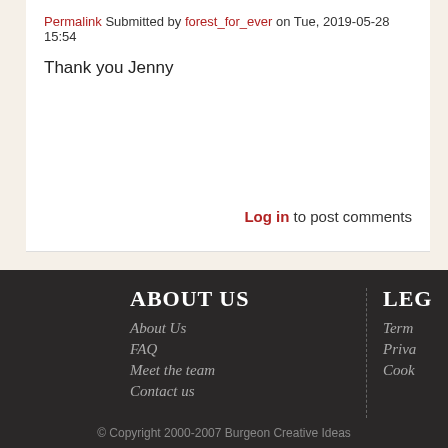Permalink Submitted by forest_for_ever on Tue, 2019-05-28 15:54
Thank you Jenny
Log in to post comments
ABOUT US
About Us
FAQ
Meet the team
Contact us
LEG
Term
Priva
Cook
© Copyright 2000-2007 Burgeon Creative Ideas